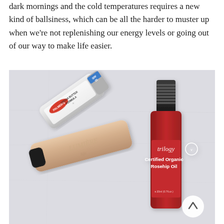dark mornings and the cold temperatures requires a new kind of ballsiness, which can be all the harder to muster up when we're not replenishing our energy levels or going out of our way to make life easier.
[Figure (photo): Flat lay photograph on a white fabric background showing three beauty/skincare products: a Palmer's Cocoa Butter Formula lip balm tube, a nude/champagne colored cosmetic tube (partially visible text), and a dark red/maroon Trilogy Certified Organic Rosehip Oil dropper bottle. A circular arrow-up scroll button is visible in the lower right of the image.]